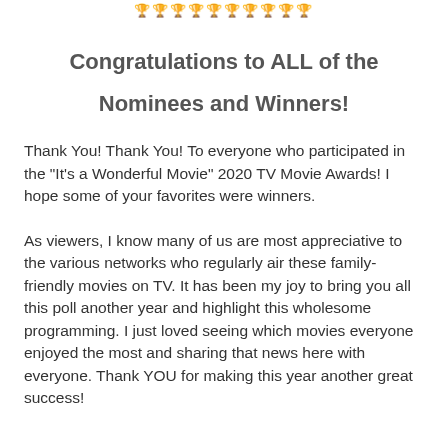🏆🏆🏆🏆🏆🏆🏆🏆🏆🏆
Congratulations to ALL of the Nominees and Winners!
Thank You! Thank You! To everyone who participated in the "It's a Wonderful Movie" 2020 TV Movie Awards! I hope some of your favorites were winners.
As viewers, I know many of us are most appreciative to the various networks who regularly air these family-friendly movies on TV. It has been my joy to bring you all this poll another year and highlight this wholesome programming. I just loved seeing which movies everyone enjoyed the most and sharing that news here with everyone. Thank YOU for making this year another great success!